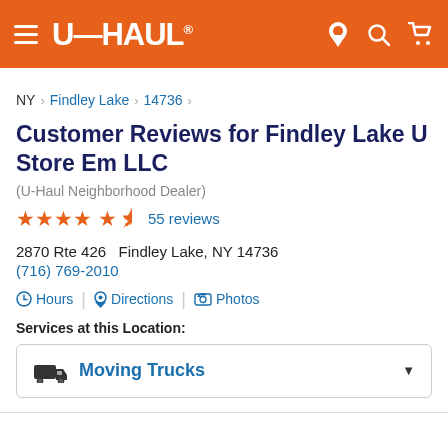U-HAUL
NY > Findley Lake > 14736 >
Customer Reviews for Findley Lake U Store Em LLC
(U-Haul Neighborhood Dealer)
4.5 stars — 55 reviews
2870 Rte 426   Findley Lake, NY 14736
(716) 769-2010
Hours | Directions | Photos
Services at this Location:
Moving Trucks